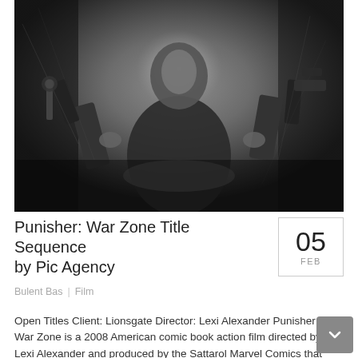[Figure (photo): Black and white action photo of a muscular man in dark clothing holding two large guns, posed aggressively in a stylized industrial setting — promotional image for Punisher: War Zone]
Punisher: War Zone Title Sequence by Pic Agency
05 FEB
Bulent Bas | Film
Open Titles Client:  Lionsgate Director: Lexi Alexander Punisher: War Zone is a 2008 American comic book action film directed by Lexi Alexander and produced by the Sattarol Marvel Comics that started...